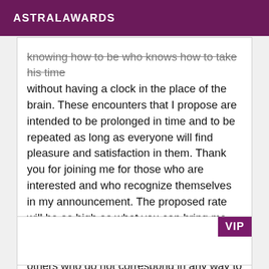ASTRALAWARDS
knowing how to be who knows how to take his time without having a clock in the place of the brain. These encounters that I propose are intended to be prolonged in time and to be repeated as long as everyone will find pleasure and satisfaction in them. Thank you for joining me for those who are interested and who recognize themselves in my announcement. The proposed rate will be as high as what you can bring me and your beauty. This message is not addressed to the undecided, illiterate, or others who do not correspond in any way to the description I made. Looking forward to reading you
VIP